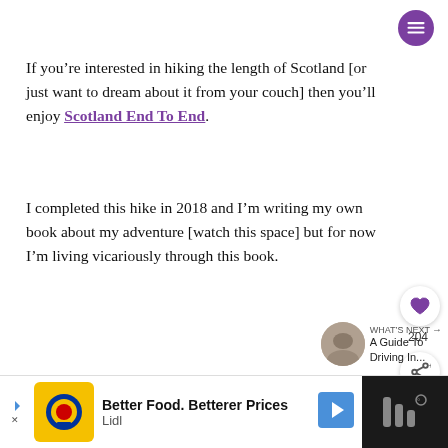If you’re interested in hiking the length of Scotland [or just want to dream about it from your couch] then you’ll enjoy Scotland End To End.
I completed this hike in 2018 and I’m writing my own book about my adventure [watch this space] but for now I’m living vicariously through this book.
>> Buy Scotland End to End on Amazon
[Figure (other): What's Next widget showing a circular thumbnail image and text 'A Guide To Driving In...']
[Figure (other): Advertisement bar: Lidl 'Better Food. Betterer Prices' with yellow logo icon and navigation arrow icon]